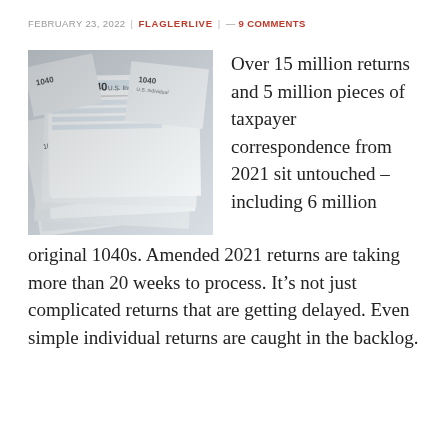FEBRUARY 23, 2022 | FLAGLERLIVE | — 9 COMMENTS
[Figure (photo): Stack of IRS Form 1040 U.S. Individual Income Tax Return documents piled on top of each other, photographed from above at an angle.]
Over 15 million returns and 5 million pieces of taxpayer correspondence from 2021 sit untouched – including 6 million original 1040s. Amended 2021 returns are taking more than 20 weeks to process. It's not just complicated returns that are getting delayed. Even simple individual returns are caught in the backlog.